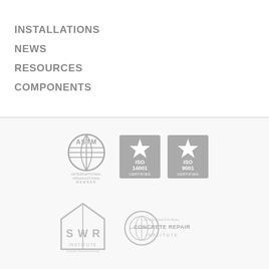INSTALLATIONS
NEWS
RESOURCES
COMPONENTS
[Figure (logo): ASTM International Organizational Member logo (gray)]
[Figure (logo): ISO 14001 Certified badge (gray)]
[Figure (logo): ISO 9001 Certified badge (gray)]
[Figure (logo): SWR Institute logo (gray)]
[Figure (logo): International Concrete Repair Institute logo (gray)]